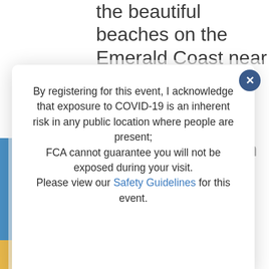the beautiful beaches on the Emerald Coast near Destin, Florida. Currently he practices part time (16 hrs./week) with full
By registering for this event, I acknowledge that exposure to COVID-19 is an inherent risk in any public location where people are present; FCA cannot guarantee you will not be exposed during your visit. Please view our Safety Guidelines for this event.
through his teachings.
Co-owner of Balance Health Studio, a wellness